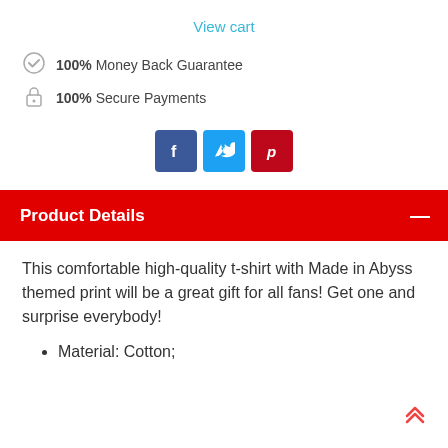View cart
100% Money Back Guarantee
100% Secure Payments
[Figure (other): Social media share buttons: Facebook (blue), Twitter (light blue), Pinterest (dark red)]
Product Details
This comfortable high-quality t-shirt with Made in Abyss themed print will be a great gift for all fans! Get one and surprise everybody!
Material: Cotton;